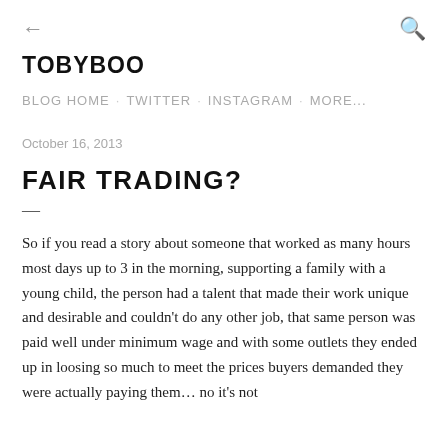← TOBYBOO [search icon]
TOBYBOO
BLOG HOME · TWITTER · INSTAGRAM · MORE...
October 16, 2013
FAIR TRADING?
—
So if you read a story about someone that worked as many hours most days up to 3 in the morning, supporting a family with a young child, the person had a talent that made their work unique and desirable and couldn't do any other job, that same person was paid well under minimum wage and with some outlets they ended up in loosing so much to meet the prices buyers demanded they were actually paying them… no it's not